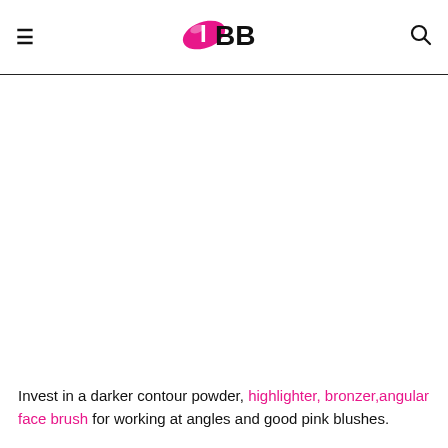≡  IMBB  🔍
Invest in a darker contour powder, highlighter, bronzer,angular face brush for working at angles and good pink blushes.